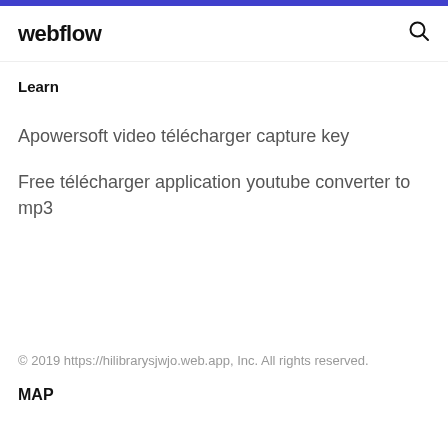webflow
Learn
Apowersoft video télécharger capture key
Free télécharger application youtube converter to mp3
© 2019 https://hilibrarysjwjo.web.app, Inc. All rights reserved.
MAP